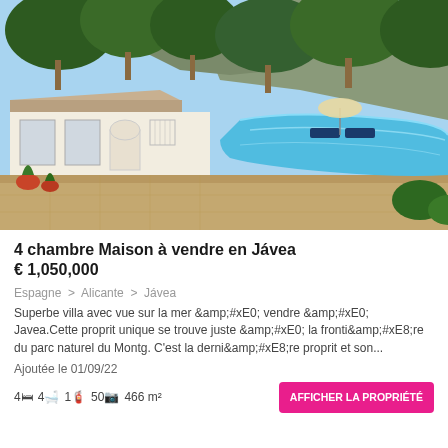[Figure (photo): White villa with arched entrance, terrace, swimming pool, lounge chairs with umbrella, surrounded by Mediterranean pine trees and rocky hillside]
4 chambre Maison à vendre en Jávea
€ 1,050,000
Espagne > Alicante > Jávea
Superbe villa avec vue sur la mer &amp;#xE0; vendre &amp;#xE0; Javea.Cette proprit unique se trouve juste &amp;#xE0; la fronti&amp;#xE8;re du parc naturel du Montg. C'est la derni&amp;#xE8;re proprit et son...
Ajoutée le 01/09/22
4  4  1  50  466 m²
AFFICHER LA PROPRIÉTÉ